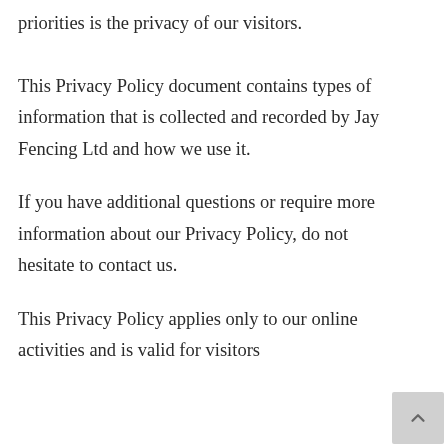priorities is the privacy of our visitors. This Privacy Policy document contains types of information that is collected and recorded by Jay Fencing Ltd and how we use it.
If you have additional questions or require more information about our Privacy Policy, do not hesitate to contact us.
This Privacy Policy applies only to our online activities and is valid for visitors